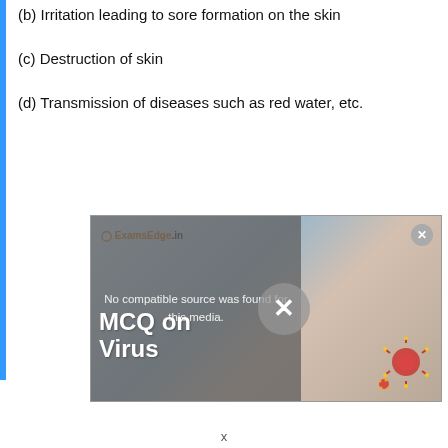(b) Irritation leading to sore formation on the skin
(c) Destruction of skin
(d) Transmission of diseases such as red water, etc.
[Figure (screenshot): Video player screenshot showing 'MCQ on Virus' overlay with a gray dialog displaying 'No compatible source was found for this media.' with an X close button. Background shows a hand with a red virus illustration.]